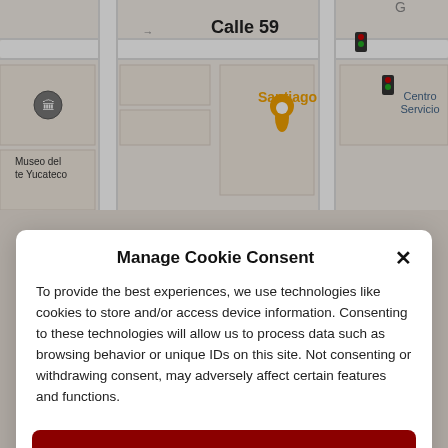[Figure (screenshot): Google Maps screenshot showing Calle 59, Museo del te Yucateco, Santiago restaurant marker, and Centro Servicio label]
Manage Cookie Consent
To provide the best experiences, we use technologies like cookies to store and/or access device information. Consenting to these technologies will allow us to process data such as browsing behavior or unique IDs on this site. Not consenting or withdrawing consent, may adversely affect certain features and functions.
Accept
Deny
View preferences